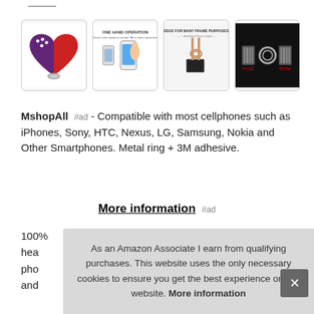[Figure (photo): Row of four product images: 1) US flag heart-shaped phone ring holder 2) One Hand Operation - phone being operated with one hand 3) Edge for many frame purposes - rose gold phone ring stand 4) Dark background with phone ring and barcodes]
MshopAll #ad - Compatible with most cellphones such as iPhones, Sony, HTC, Nexus, LG, Samsung, Nokia and Other Smartphones. Metal ring + 3M adhesive.
More information #ad
100%... hea... pho... and...
As an Amazon Associate I earn from qualifying purchases. This website uses the only necessary cookies to ensure you get the best experience on our website. More information